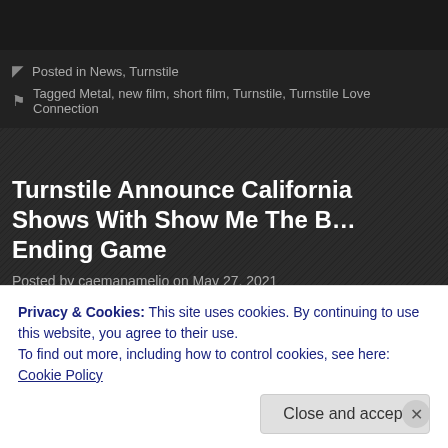Posted in News, Turnstile
Tagged Metal, new film, short film, Turnstile, Turnstile Love Connection
Turnstile Announce California Shows With Show Me The Body and Never Ending Game
Posted by caemanamelio on May 27, 2021
Turnstile have announced some California shows with Show Me The Body and... Here's the dates:
08/28 Garden Grove, CA – Garden Amp
08/29 Ventura, CA – The Tavern
Privacy & Cookies: This site uses cookies. By continuing to use this website, you agree to their use. To find out more, including how to control cookies, see here: Cookie Policy
Close and accept